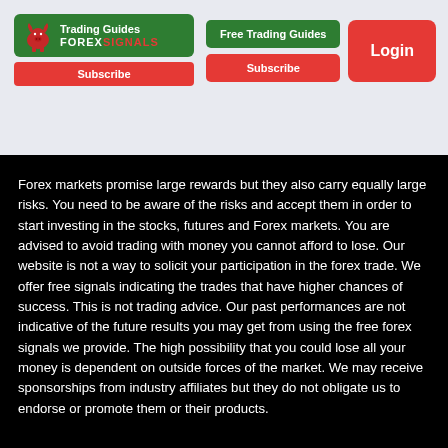[Figure (logo): Forex Signals Trading Guides logo with bull icon on green background, with red Subscribe bar below]
[Figure (screenshot): Navigation buttons: green Free Trading Guides button, red Subscribe button, red Login button]
Forex markets promise large rewards but they also carry equally large risks. You need to be aware of the risks and accept them in order to start investing in the stocks, futures and Forex markets. You are advised to avoid trading with money you cannot afford to lose. Our website is not a way to solicit your participation in the forex trade. We offer free signals indicating the trades that have higher chances of success. This is not trading advice. Our past performances are not indicative of the future results you may get from using the free forex signals we provide. The high possibility that you could lose all your money is dependent on outside forces of the market. We may receive sponsorships from industry affiliates but they do not obligate us to endorse or promote them or their products.